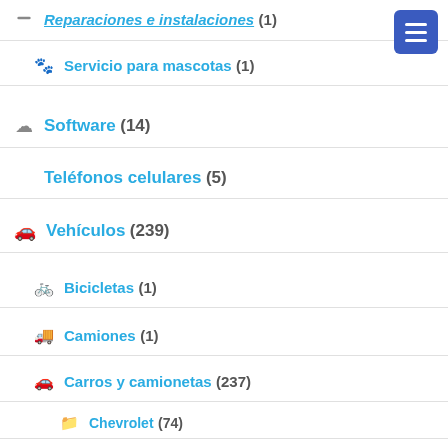Reparaciones e instalaciones (1)
Servicio para mascotas (1)
Software (14)
Teléfonos celulares (5)
Vehículos (239)
Bicicletas (1)
Camiones (1)
Carros y camionetas (237)
Chevrolet (74)
Ford (13)
Kia (21)